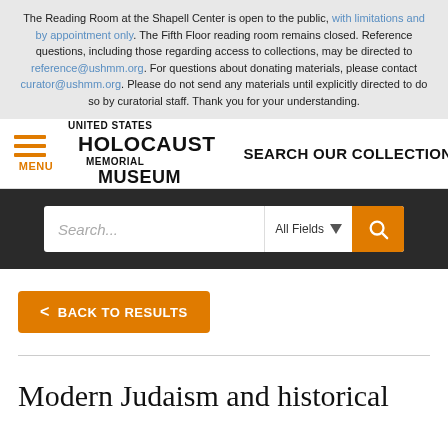The Reading Room at the Shapell Center is open to the public, with limitations and by appointment only. The Fifth Floor reading room remains closed. Reference questions, including those regarding access to collections, may be directed to reference@ushmm.org. For questions about donating materials, please contact curator@ushmm.org. Please do not send any materials until explicitly directed to do so by curatorial staff. Thank you for your understanding.
[Figure (logo): United States Holocaust Memorial Museum logo with hamburger menu icon and 'SEARCH OUR COLLECTIONS' text]
[Figure (screenshot): Search bar with 'Search...' placeholder, 'All Fields' dropdown, and orange search button]
< BACK TO RESULTS
Modern Judaism and historical